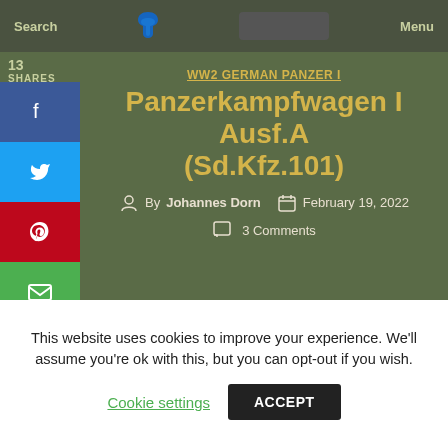Search  Menu
13 SHARES
WW2 GERMAN PANZER I
Panzerkampfwagen I Ausf.A (Sd.Kfz.101)
By Johannes Dorn  February 19, 2022
3 Comments
[Figure (photo): Top-down view of a Panzerkampfwagen I Ausf.A tank model with a white cross marking on the hull]
This website uses cookies to improve your experience. We'll assume you're ok with this, but you can opt-out if you wish. Cookie settings  ACCEPT